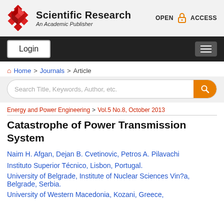Scientific Research — An Academic Publisher | OPEN ACCESS
Login
Home > Journals > Article
Search Title, Keywords, Author, etc.
Energy and Power Engineering > Vol.5 No.8, October 2013
Catastrophe of Power Transmission System
Naim H. Afgan, Dejan B. Cvetinovic, Petros A. Pilavachi
Instituto Superior Técnico, Lisbon, Portugal.
University of Belgrade, Institute of Nuclear Sciences Vin?a, Belgrade, Serbia.
University of Western Macedonia, Kozani, Greece.